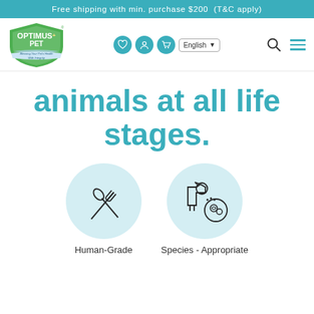Free shipping with min. purchase $200  (T&C apply)
[Figure (logo): Optimus Pet logo — green shield with OPTIMUS+ PET text and tagline 'Blessing Your Pet's Health With Integrity']
animals at all life stages.
[Figure (illustration): Two circular icons on light blue backgrounds: left icon shows crossed fork and spoon (Human-Grade), right icon shows a dog with a bowl (Species-Appropriate)]
Human-Grade
Species - Appropriate